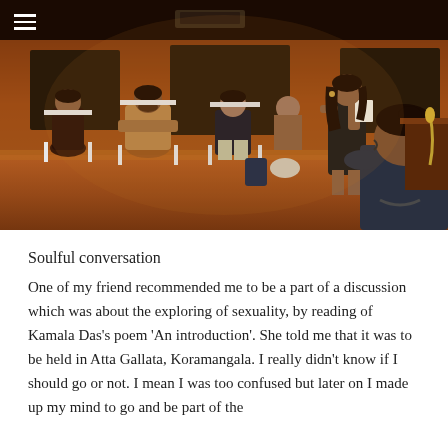[Figure (photo): Indoor scene with warm amber/orange lighting. Several people seated in white plastic chairs arranged in a semi-circle. A woman in a black dress stands holding papers, apparently reading aloud. Another person is seen from behind in the foreground right. Wooden walls and blackboards visible in background. A small hamburger menu icon (three horizontal lines) is visible in the top-left corner.]
Soulful conversation
One of my friend recommended me to be a part of a discussion which was about the exploring of sexuality, by reading of Kamala Das's poem 'An introduction'. She told me that it was to be held in Atta Gallata, Koramangala. I really didn't know if I should go or not. I mean I was too confused but later on I made up my mind to go and be part of the